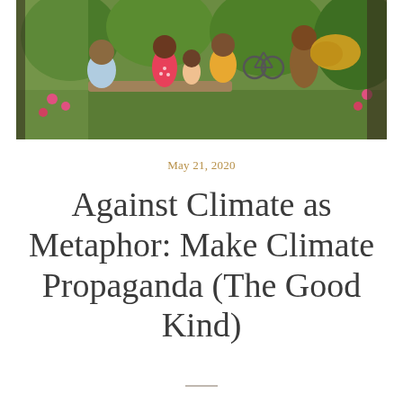[Figure (illustration): A colorful painted mural showing a community scene with people of various ages gathered outdoors, playing games at a table, a person playing a tuba, people on bicycles, and lush green foliage in the background.]
May 21, 2020
Against Climate as Metaphor: Make Climate Propaganda (The Good Kind)